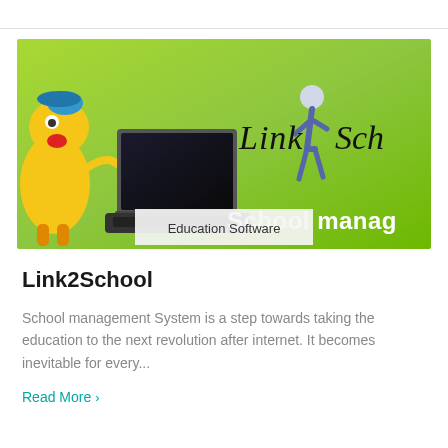[Figure (illustration): Green banner image for Link2School app showing a cartoon character, laptop, script logo text 'Link Sch', a running figure, and 'School manag' text. An 'Education Software' label overlay appears at bottom center.]
Education Software
Link2School
School management System is a step towards taking the education to the next revolution after internet. It becomes inevitable for every...
Read More ›